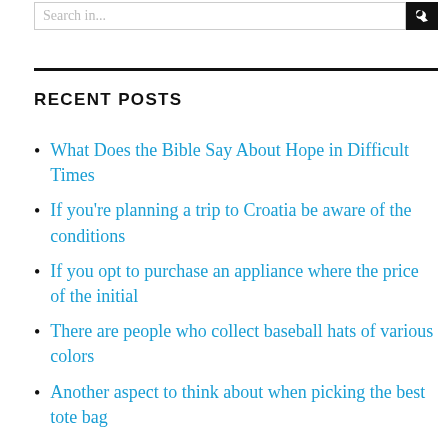Search in...
RECENT POSTS
What Does the Bible Say About Hope in Difficult Times
If you're planning a trip to Croatia be aware of the conditions
If you opt to purchase an appliance where the price of the initial
There are people who collect baseball hats of various colors
Another aspect to think about when picking the best tote bag